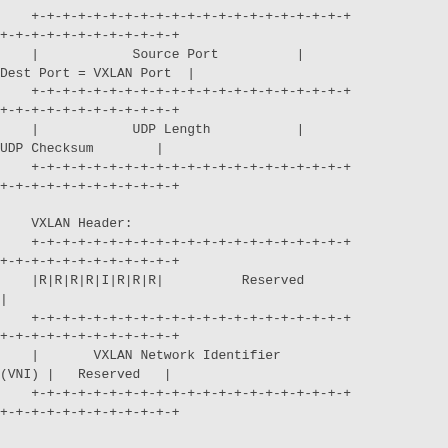[Figure (schematic): Network protocol diagram showing UDP header fields (Source Port, Dest Port = VXLAN Port, UDP Length, UDP Checksum) and VXLAN Header fields (R|R|R|R|I|R|R|R flags with Reserved, VXLAN Network Identifier (VNI) with Reserved) in ASCII art box format]